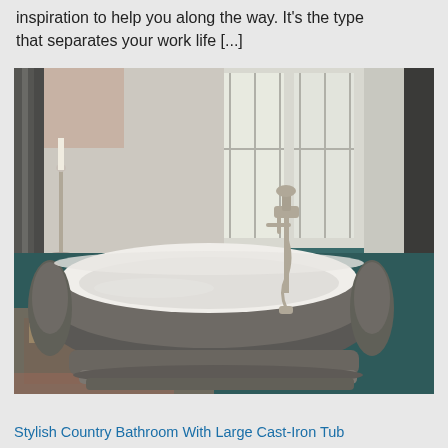inspiration to help you along the way. It's the type that separates your work life [...]
[Figure (photo): A freestanding cast-iron bathtub with a brushed nickel/pewter exterior and white interior, sitting on a pedestal base on a dark teal floor. A floor-mounted faucet and hand shower in brushed nickel stand beside the tub. A decorative rug is visible on the floor, and curtains and a candle holder are in the background near large windows.]
Stylish Country Bathroom With Large Cast-Iron Tub